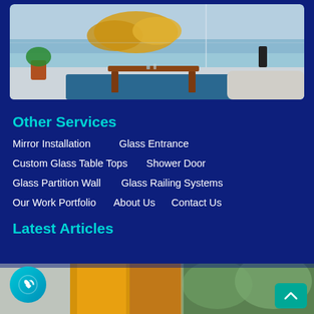[Figure (photo): Interior room photo showing a living space with a wooden coffee table on a blue rug, large glass windows, a potted plant, and modern sofa]
Other Services
Mirror Installation
Glass Entrance
Custom Glass Table Tops
Shower Door
Glass Partition Wall
Glass Railing Systems
Our Work Portfolio
About Us
Contact Us
Latest Articles
[Figure (photo): Bottom partial image showing yellow/orange curtains or lampshades with green foliage in background]